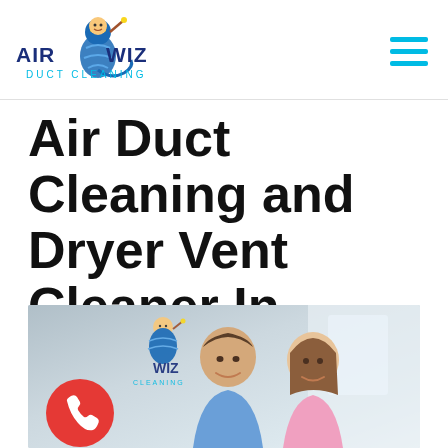[Figure (logo): Air Wiz Duct Cleaning logo with wizard mascot character, blue tornado, and text 'AIR WIZ DUCT CLEANING']
[Figure (other): Hamburger menu icon with three horizontal cyan/teal lines]
Air Duct Cleaning and Dryer Vent Cleaner In Reston, VA
[Figure (photo): Photo of smiling couple/family overlaid with Air Wiz logo watermark and a red phone call button in the bottom left corner]